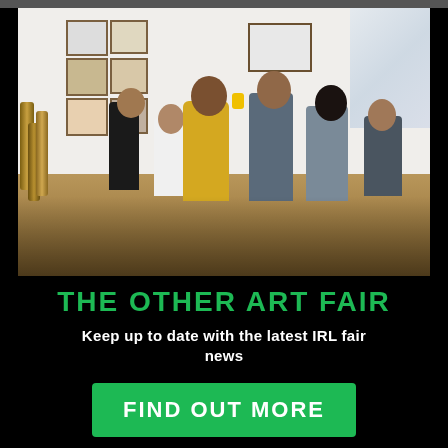[Figure (photo): Photo of people viewing artwork at an art fair/gallery opening. Multiple visitors looking at framed works on white walls. A woman in a yellow top is prominent in the foreground.]
THE OTHER ART FAIR
Keep up to date with the latest IRL fair news
FIND OUT MORE